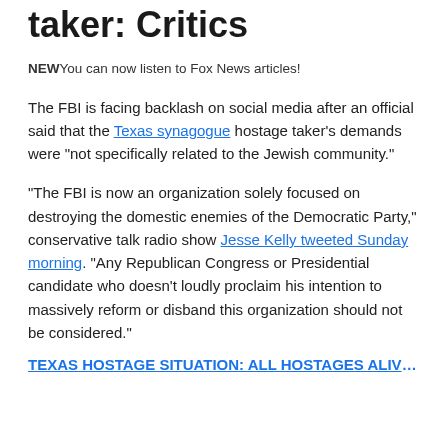taker: Critics
NEWYou can now listen to Fox News articles!
The FBI is facing backlash on social media after an official said that the Texas synagogue hostage taker's demands were "not specifically related to the Jewish community."
"The FBI is now an organization solely focused on destroying the domestic enemies of the Democratic Party," conservative talk radio show Jesse Kelly tweeted Sunday morning. "Any Republican Congress or Presidential candidate who doesn't loudly proclaim his intention to massively reform or disband this organization should not be considered."
TEXAS HOSTAGE SITUATION: ALL HOSTAGES ALIVE...